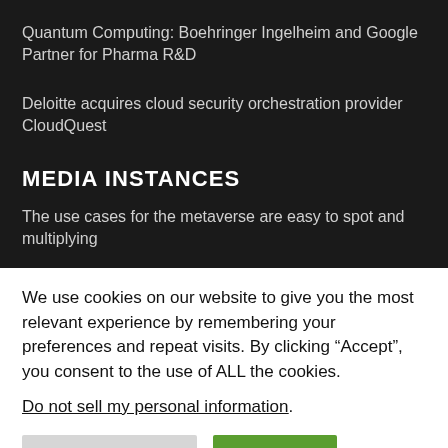Quantum Computing: Boehringer Ingelheim and Google Partner for Pharma R&D
Deloitte acquires cloud security orchestration provider CloudQuest
MEDIA INSTANCES
The use cases for the metaverse are easy to spot and multiplying
We use cookies on our website to give you the most relevant experience by remembering your preferences and repeat visits. By clicking “Accept”, you consent to the use of ALL the cookies.
Do not sell my personal information.
Cookie Settings
Accept